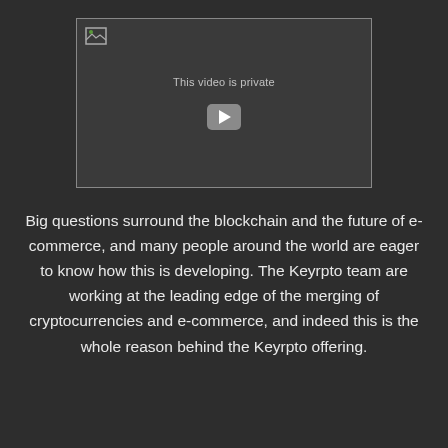[Figure (screenshot): A private YouTube video embed showing 'This video is private' message with a play button, on a dark background with a border.]
Big questions surround the blockchain and the future of e-commerce, and many people around the world are eager to know how this is developing. The Keyrpto team are working at the leading edge of the merging of cryptocurrencies and e-commerce, and indeed this is the whole reason behind the Keyrpto offering.